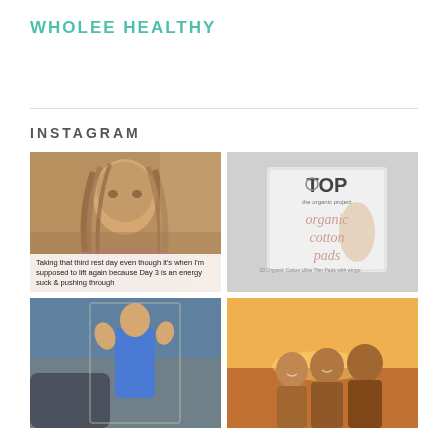WHOLEE HEALTHY
INSTAGRAM
[Figure (photo): Selfie of a woman with long hair resting on a couch/pillow with overlay text about taking a rest day]
Taking that third rest day even though it's when I'm supposed to lift again because Day 3 is an energy suck & pushing through
[Figure (photo): Close-up of TOP (The Organic Project) organic cotton pads product box being held]
[Figure (photo): Person in blue tank top flexing in a mirror selfie in a garage]
[Figure (photo): Group of people smiling outdoors at sunset]